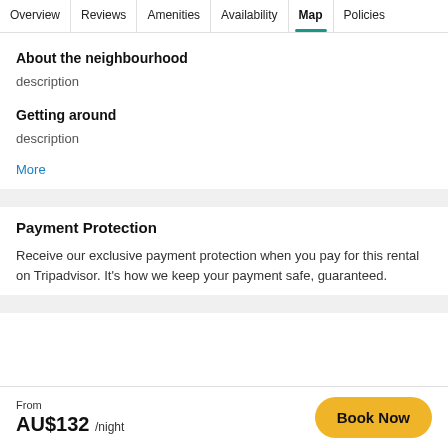Overview | Reviews | Amenities | Availability | Map | Policies
About the neighbourhood
description
Getting around
description
More
Payment Protection
Receive our exclusive payment protection when you pay for this rental on Tripadvisor. It's how we keep your payment safe, guaranteed.
From AU$132 /night
Book Now